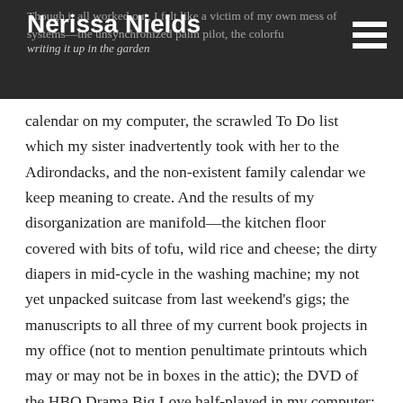Nerissa Nields — writing it up in the garden
Though it all worked out, I felt like a victim of my own mess of systems—the unsynchronized palm pilot, the colorful calendar on my computer, the scrawled To Do list which my sister inadvertently took with her to the Adirondacks, and the non-existent family calendar we keep meaning to create. And the results of my disorganization are manifold—the kitchen floor covered with bits of tofu, wild rice and cheese; the dirty diapers in mid-cycle in the washing machine; my not yet unpacked suitcase from last weekend's gigs; the manuscripts to all three of my current book projects in my office (not to mention penultimate printouts which may or may not be in boxes in the attic); the DVD of the HBO Drama Big Love half-played in my computer; the leggy runners keeping my roses from blooming. But at least I finished Harry Potter.
I'm only kind of kidding. That day, I did something I almost